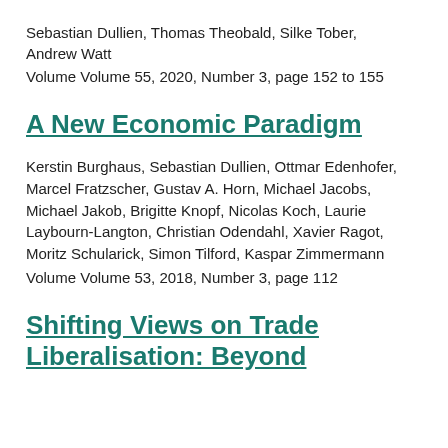Sebastian Dullien, Thomas Theobald, Silke Tober, Andrew Watt
Volume Volume 55, 2020, Number 3, page 152 to 155
A New Economic Paradigm
Kerstin Burghaus, Sebastian Dullien, Ottmar Edenhofer, Marcel Fratzscher, Gustav A. Horn, Michael Jacobs, Michael Jakob, Brigitte Knopf, Nicolas Koch, Laurie Laybourn-Langton, Christian Odendahl, Xavier Ragot, Moritz Schularick, Simon Tilford, Kaspar Zimmermann
Volume Volume 53, 2018, Number 3, page 112
Shifting Views on Trade Liberalisation: Beyond